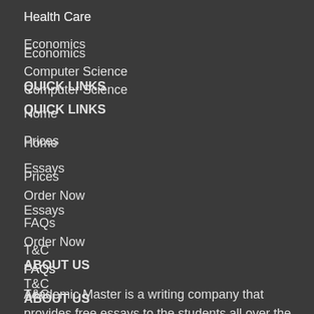Health Care
Economics
Computer Science
QUICK LINKS
Home
Prices
Essays
Order Now
FAQs
T&C
ABOUT US
Academic Master is a writing company that provides free essays to the students all over the World.